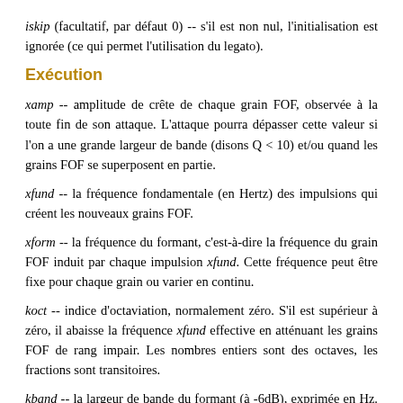iskip (facultatif, par défaut 0) -- s'il est non nul, l'initialisation est ignorée (ce qui permet l'utilisation du legato).
Exécution
xamp -- amplitude de crête de chaque grain FOF, observée à la toute fin de son attaque. L'attaque pourra dépasser cette valeur si l'on a une grande largeur de bande (disons Q < 10) et/ou quand les grains FOF se superposent en partie.
xfund -- la fréquence fondamentale (en Hertz) des impulsions qui créent les nouveaux grains FOF.
xform -- la fréquence du formant, c'est-à-dire la fréquence du grain FOF induit par chaque impulsion xfund. Cette fréquence peut être fixe pour chaque grain ou varier en continu.
koct -- indice d'octaviation, normalement zéro. S'il est supérieur à zéro, il abaisse la fréquence xfund effective en atténuant les grains FOF de rang impair. Les nombres entiers sont des octaves, les fractions sont transitoires.
kband -- la largeur de bande du formant (à -6dB), exprimée en Hz. La largeur de bande détermine la vitesse de décroissance exponentielle du grain FOF, avant l'application de l'enveloppe d'activation.